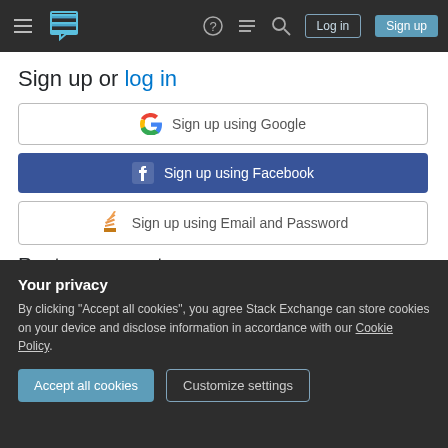Stack Exchange navigation bar with hamburger menu, logo, help icon, chat icon, search icon, Log in button, Sign up button
Sign up or log in
[Figure (screenshot): Sign up using Google button]
[Figure (screenshot): Sign up using Facebook button]
[Figure (screenshot): Sign up using Email and Password button]
Post as a guest
Name
[Figure (screenshot): Your privacy cookie consent banner with Accept all cookies and Customize settings buttons]